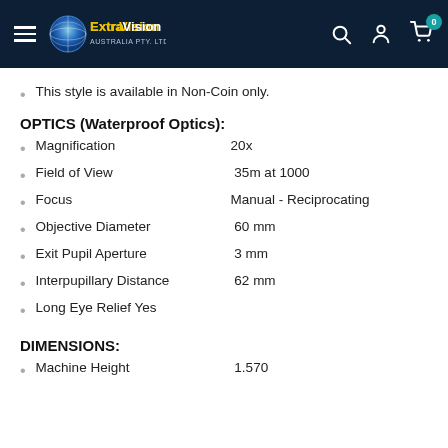ExtraVision Australia Pty Ltd
This style is available in Non-Coin only.
OPTICS (Waterproof Optics):
Magnification    20x
Field of View    35m at 1000
Focus    Manual - Reciprocating
Objective Diameter    60 mm
Exit Pupil Aperture    3 mm
Interpupillary Distance    62 mm
Long Eye Relief Yes
DIMENSIONS:
Machine Height    1.570